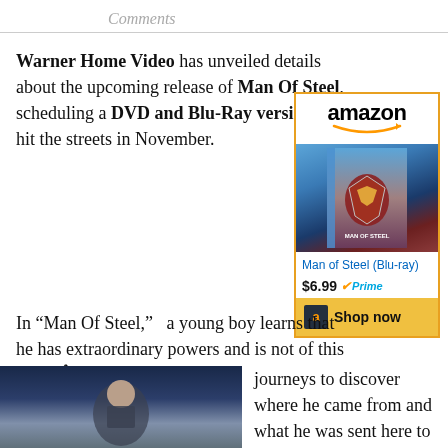Comments
Warner Home Video has unveiled details about the upcoming release of Man Of Steel, scheduling a DVD and Blu-Ray version to hit the streets in November.
[Figure (other): Amazon widget showing Man of Steel Blu-ray product listing with price $6.99 and Shop now button]
In “Man Of Steel,”  a young boy learns that he has extraordinary powers and is not of this Earth.Â  As a young man, he
[Figure (photo): Man of Steel Blu-ray 3D + Blu-ray + DVD + Digital HD UltraViolet movie cover with Henry Cavill as Superman]
journeys to discover where he came from and what he was sent here to